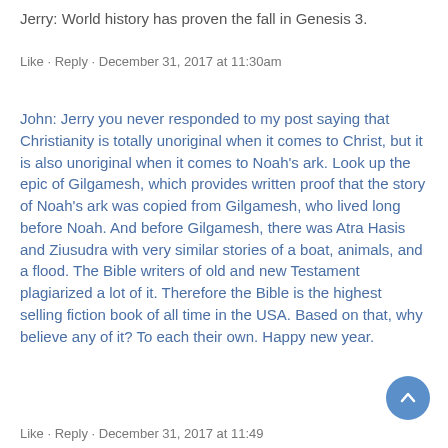Jerry: World history has proven the fall in Genesis 3.
Like · Reply · December 31, 2017 at 11:30am
John: Jerry you never responded to my post saying that Christianity is totally unoriginal when it comes to Christ, but it is also unoriginal when it comes to Noah's ark. Look up the epic of Gilgamesh, which provides written proof that the story of Noah's ark was copied from Gilgamesh, who lived long before Noah. And before Gilgamesh, there was Atra Hasis and Ziusudra with very similar stories of a boat, animals, and a flood. The Bible writers of old and new Testament plagiarized a lot of it. Therefore the Bible is the highest selling fiction book of all time in the USA. Based on that, why believe any of it? To each their own. Happy new year.
Like · Reply · December 31, 2017 at 11:49